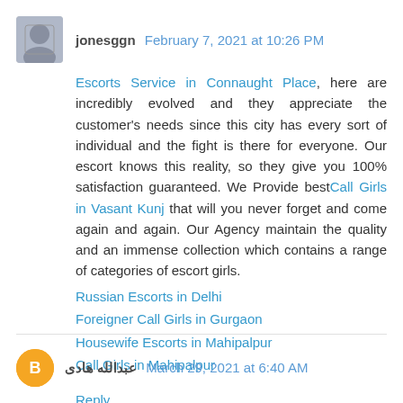[Figure (photo): Avatar photo of user jonesggn, small square image]
jonesggn February 7, 2021 at 10:26 PM
Escorts Service in Connaught Place, here are incredibly evolved and they appreciate the customer's needs since this city has every sort of individual and the fight is there for everyone. Our escort knows this reality, so they give you 100% satisfaction guaranteed. We Provide bestCall Girls in Vasant Kunj that will you never forget and come again and again. Our Agency maintain the quality and an immense collection which contains a range of categories of escort girls.
Russian Escorts in Delhi
Foreigner Call Girls in Gurgaon
Housewife Escorts in Mahipalpur
Call Girls in Mahipalpur
Reply
[Figure (illustration): Orange circle avatar with Blogger B logo for user عبدالله هادی]
عبدالله هادی March 29, 2021 at 6:40 AM